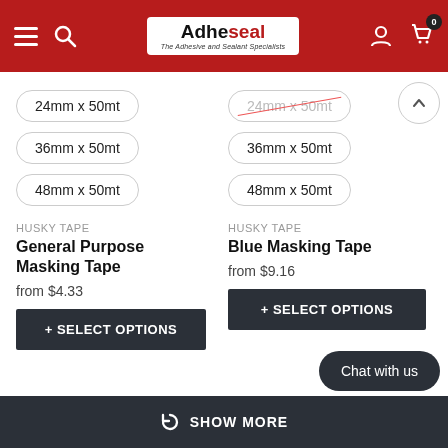Adheseal – The Adhesive and Sealant Specialists
24mm x 50mt (left product size option)
36mm x 50mt (left product size option)
48mm x 50mt (left product size option)
24mm x 50mt (right product size option, strikethrough)
36mm x 50mt (right product size option)
48mm x 50mt (right product size option)
HUSKY TAPE
General Purpose Masking Tape
from $4.33
+ SELECT OPTIONS
HUSKY TAPE
Blue Masking Tape
from $9.16
+ SELECT OPTIONS
SHOW MORE
Chat with us